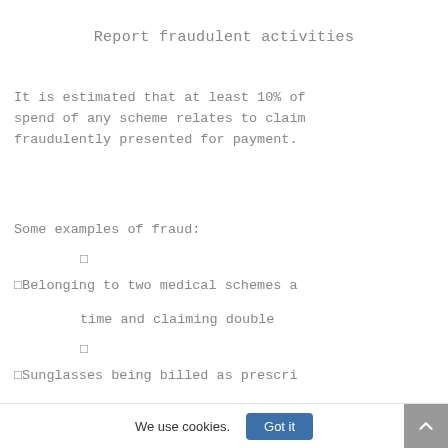Report fraudulent activities
It is estimated that at least 10% of spend of any scheme relates to claim fraudulently presented for payment.
Some examples of fraud:
Belonging to two medical schemes a time and claiming double
Sunglasses being billed as prescri
We use cookies. Got it